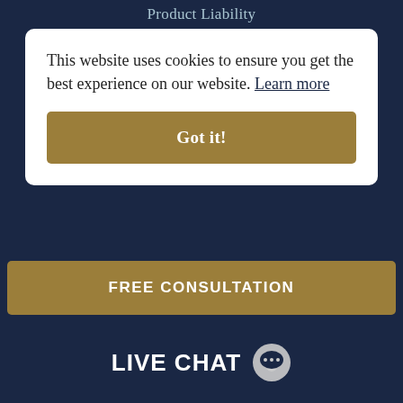Product Liability
This website uses cookies to ensure you get the best experience on our website. Learn more
Got it!
Accident Injury
Premises Liability
Work Injuries
Wrongful Death
Nursing Home Neglect
FREE CONSULTATION
LIVE CHAT